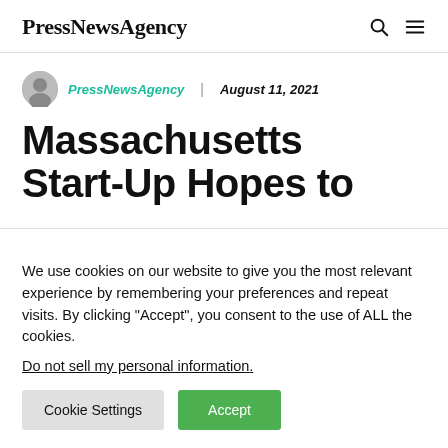PressNewsAgency
PressNewsAgency | August 11, 2021
Massachusetts Start-Up Hopes to
We use cookies on our website to give you the most relevant experience by remembering your preferences and repeat visits. By clicking “Accept”, you consent to the use of ALL the cookies.
Do not sell my personal information.
Cookie Settings  Accept